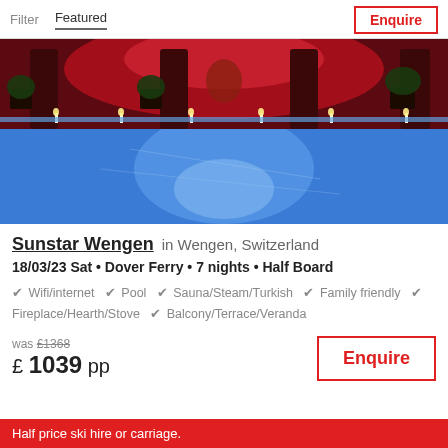Filter   Featured   Enquire
[Figure (photo): Hotel spa/pool area with red and blue lighting, candles, and plant decorations]
Sunstar Wengen  in Wengen, Switzerland
18/03/23 Sat • Dover Ferry • 7 nights • Half Board
Wifi/internet  Pool  Sauna/Steam/Turkish  Family friendly  Fireplace/Hearth/Stove  Balcony/Terrace/Veranda
was £1368
£1039 pp
Enquire
Half price ski hire or carriage.